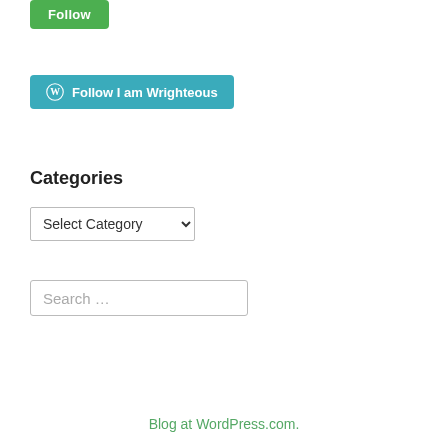[Figure (other): Green Follow button (rounded rectangle, green background, white text)]
[Figure (other): WordPress Follow button: teal background, WordPress logo icon, white text 'Follow I am Wrighteous']
Categories
[Figure (other): Select Category dropdown menu widget]
[Figure (other): Search text input box with placeholder text 'Search ...']
Blog at WordPress.com.